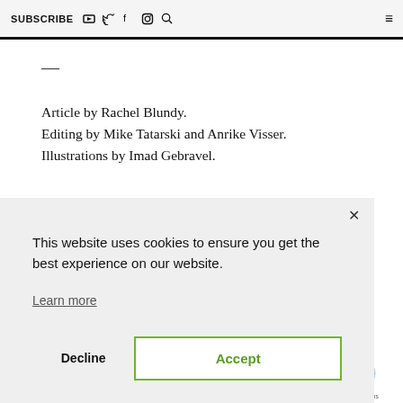SUBSCRIBE
Article by Rachel Blundy. Editing by Mike Tatarski and Anrike Visser. Illustrations by Imad Gebravel.
This website uses cookies to ensure you get the best experience on our website. Learn more
Decline  Accept